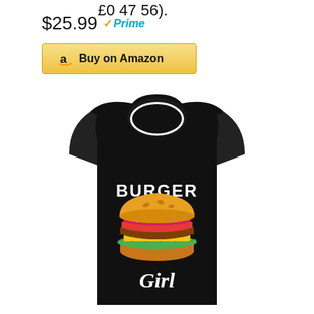£0 47 56).
$25.99 Prime
Buy on Amazon
[Figure (photo): Black sleeveless tank top with 'BURGER Girl' text and burger graphic on the front]